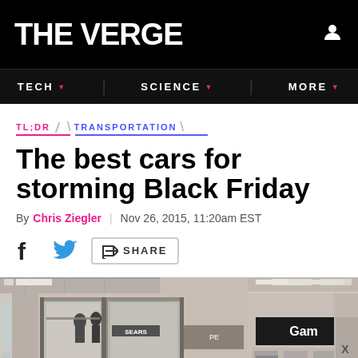THE VERGE
TECH | SCIENCE | MORE
TL;DR \ TRANSPORTATION
The best cars for storming Black Friday
By Chris Ziegler | Nov 26, 2015, 11:20am EST
SHARE
[Figure (photo): Interior of a shopping mall with multiple stores visible, taken from ground level near a store entrance. A GameStop store is visible on the right side.]